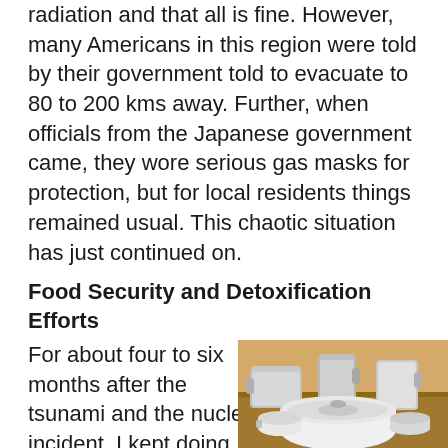radiation and that all is fine. However, many Americans in this region were told by their government told to evacuate to 80 to 200 kms away. Further, when officials from the Japanese government came, they wore serious gas masks for protection, but for local residents things remained usual. This chaotic situation has just continued on.
Food Security and Detoxification Efforts
For about four to six months after the tsunami and the nuclear incident, I kept doing this delivery of relief goods. Then,
[Figure (photo): Photo of kitchen/cooking equipment including what appears to be food processors, pots, and appliances arranged on a wooden surface]